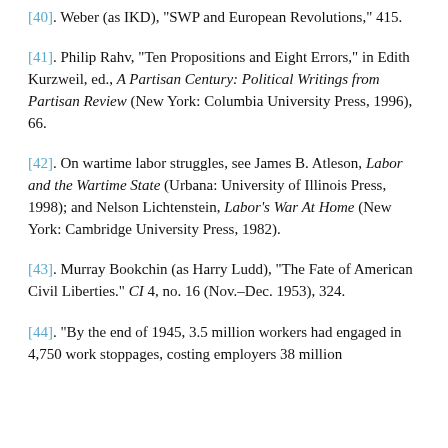[40]. Weber (as IKD), "SWP and European Revolutions," 415.
[41]. Philip Rahv, "Ten Propositions and Eight Errors," in Edith Kurzweil, ed., A Partisan Century: Political Writings from Partisan Review (New York: Columbia University Press, 1996), 66.
[42]. On wartime labor struggles, see James B. Atleson, Labor and the Wartime State (Urbana: University of Illinois Press, 1998); and Nelson Lichtenstein, Labor's War At Home (New York: Cambridge University Press, 1982).
[43]. Murray Bookchin (as Harry Ludd), "The Fate of American Civil Liberties." CI 4, no. 16 (Nov.–Dec. 1953), 324.
[44]. "By the end of 1945, 3.5 million workers had engaged in 4,750 work stoppages, costing employers 38 million